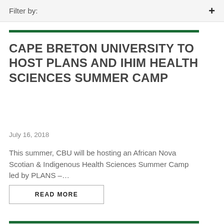Filter by:
CAPE BRETON UNIVERSITY TO HOST PLANS AND IHIM HEALTH SCIENCES SUMMER CAMP
July 16, 2018
This summer, CBU will be hosting an African Nova Scotian & Indigenous Health Sciences Summer Camp led by PLANS –…
READ MORE